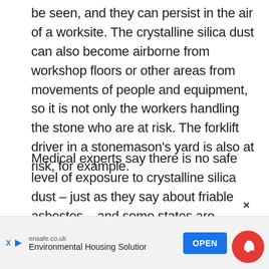be seen, and they can persist in the air of a worksite. The crystalline silica dust can also become airborne from workshop floors or other areas from movements of people and equipment, so it is not only the workers handling the stone who are at risk. The forklift driver in a stonemason's yard is also at risk, for example.
Medical experts say there is no safe level of exposure to crystalline silica dust – just as they say about friable asbestos – and some states are pushing for a tightening of the current national WHS standard for exposure.
[Figure (other): Advertisement banner at bottom of page: ensafe.co.uk - Environmental Housing Solution with OPEN button, X close button, and notification bell icon overlay]